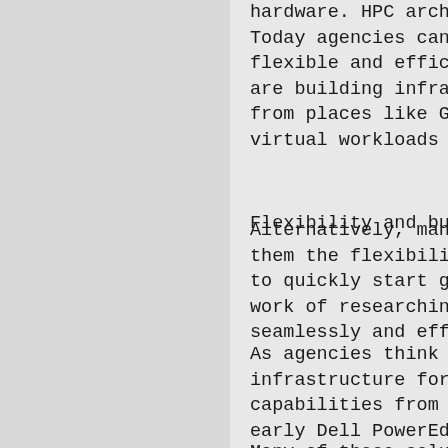hardware. HPC architectures are the natural... Today agencies can essentially buy HPC systems flexible and efficient right off the shelf. are building infrastructure solutions, and from places like GitHub. Companies are also virtual workloads across compute, memory, ne
Flexibility and built-in security
Alternatively, many customers simply want to them the flexibility they need across their to quickly start getting answers from their work of researching the best components and seamlessly and efficiently.
As agencies think about choosing an infrastructure for AI capabilities, they sh capabilities from accelerator companies, wh early Dell PowerEdge platforms had only thr but today, the number of accelerators has i the industry. We've also seen the rise of G programmable gate arrays.
Many of these solutions have built-in securi